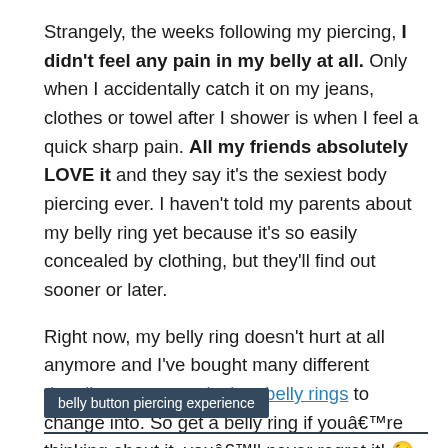Strangely, the weeks following my piercing, I didn't feel any pain in my belly at all. Only when I accidentally catch it on my jeans, clothes or towel after I shower is when I feel a quick sharp pain. All my friends absolutely LOVE it and they say it's the sexiest body piercing ever. I haven't told my parents about my belly ring yet because it's so easily concealed by clothing, but they'll find out sooner or later.
Right now, my belly ring doesn't hurt at all anymore and I've bought many different dangling, reverse, playboy belly rings to change into. So get a belly ring if youâ€™re thinking about it, youâ€™ll never regret it! 😉
belly button piercing experience